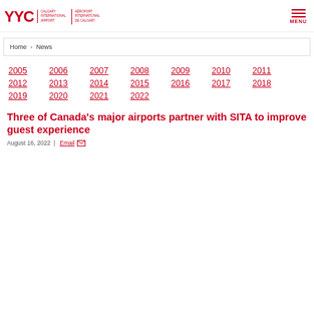YYC Calgary International Airport / Aeroport International de Calgary | MENU
Home › News
2005
2006
2007
2008
2009
2010
2011
2012
2013
2014
2015
2016
2017
2018
2019
2020
2021
2022
Three of Canada's major airports partner with SITA to improve guest experience
August 16, 2022  |  Email ✉